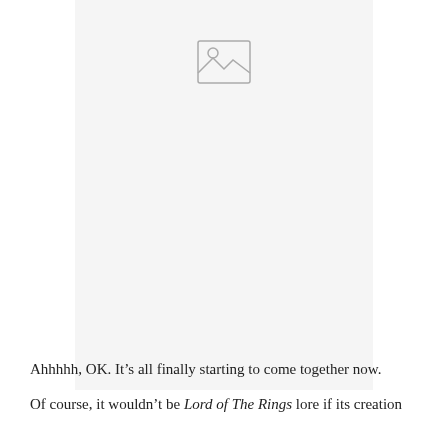[Figure (illustration): Placeholder image icon showing a rectangle with a small circle and mountain/landscape lines, on a light gray background]
Ahhhhh, OK. It’s all finally starting to come together now.
Of course, it wouldn’t be Lord of The Rings lore if its creation